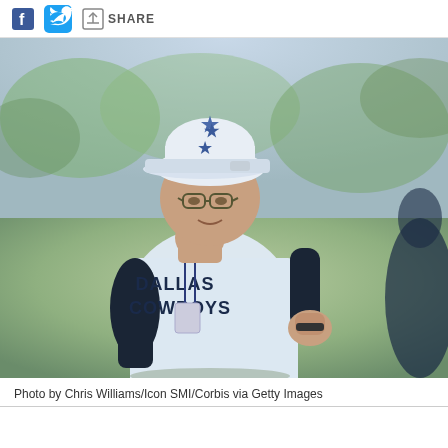SHARE
[Figure (photo): A Dallas Cowboys coach wearing a white Dallas Cowboys shirt and cap with a star logo, lanyard with badge, standing on a field during practice. He is gesturing with his right hand. Background is blurred green/outdoor setting.]
Photo by Chris Williams/Icon SMI/Corbis via Getty Images